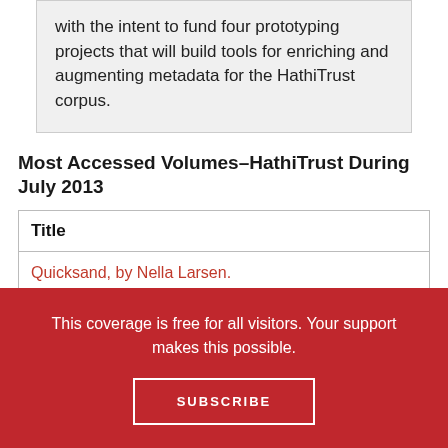with the intent to fund four prototyping projects that will build tools for enriching and augmenting metadata for the HathiTrust corpus.
Most Accessed Volumes–HathiTrust During July 2013
| Title |
| --- |
| Quicksand, by Nella Larsen. |
| Roster of the Confederate soldiers of Georgia, 186 |
This coverage is free for all visitors. Your support makes this possible.
SUBSCRIBE